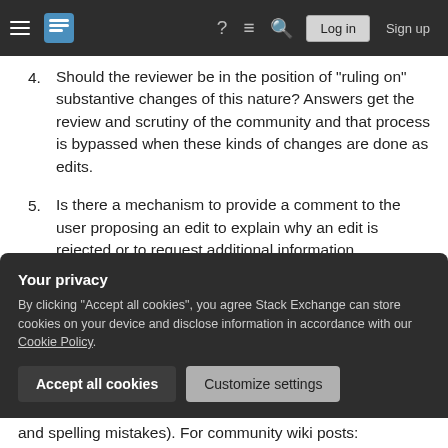Stack Exchange navigation bar with hamburger menu, logo, help icon, chat icon, search icon, Log in button, Sign up button
4. Should the reviewer be in the position of "ruling on" substantive changes of this nature? Answers get the review and scrutiny of the community and that process is bypassed when these kinds of changes are done as edits.
5. Is there a mechanism to provide a comment to the user proposing an edit to explain why an edit is rejected or to request additional information, substantiation, or changes to the edit that only they would have the knowledge to
Your privacy
By clicking "Accept all cookies", you agree Stack Exchange can store cookies on your device and disclose information in accordance with our Cookie Policy.
Accept all cookies   Customize settings
and spelling mistakes). For community wiki posts: